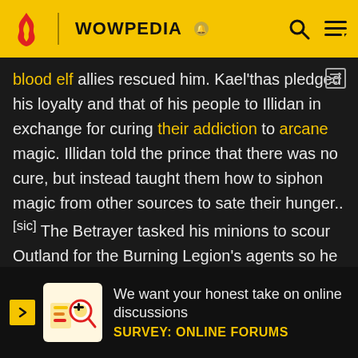WOWPEDIA
blood elf allies rescued him. Kael'thas pledged his loyalty and that of his people to Illidan in exchange for curing their addiction to arcane magic. Illidan told the prince that there was no cure, but instead taught them how to siphon magic from other sources to sate their hunger..[sic] The Betrayer tasked his minions to scour Outland for the Burning Legion's agents so he could claim the broken world and solidify his power for the inevitable confrontation with Kil'Jaeden. While smiting the land, they located the demonic pit lord Magtheridon who has amassed a massive army by bringing in hapless demons through...dan and h...ed to sto...
[Figure (infographic): Survey popup banner: 'We want your honest take on online discussions' with 'SURVEY: ONLINE FORUMS' label in yellow, featuring a graphic with magnifying glass and analytics icons.]